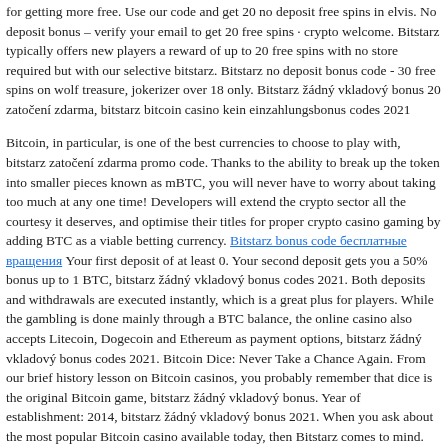for getting more free. Use our code and get 20 no deposit free spins in elvis. No deposit bonus – verify your email to get 20 free spins · crypto welcome. Bitstarz typically offers new players a reward of up to 20 free spins with no store required but with our selective bitstarz. Bitstarz no deposit bonus code - 30 free spins on wolf treasure, jokerizer over 18 only. Bitstarz žádný vkladový bonus 20 zatočení zdarma, bitstarz bitcoin casino kein einzahlungsbonus codes 2021
Bitcoin, in particular, is one of the best currencies to choose to play with, bitstarz zatočení zdarma promo code. Thanks to the ability to break up the token into smaller pieces known as mBTC, you will never have to worry about taking too much at any one time! Developers will extend the crypto sector all the courtesy it deserves, and optimise their titles for proper crypto casino gaming by adding BTC as a viable betting currency. Bitstarz bonus code бесплатные вращения Your first deposit of at least 0. Your second deposit gets you a 50% bonus up to 1 BTC, bitstarz žádný vkladový bonus codes 2021. Both deposits and withdrawals are executed instantly, which is a great plus for players. While the gambling is done mainly through a BTC balance, the online casino also accepts Litecoin, Dogecoin and Ethereum as payment options, bitstarz žádný vkladový bonus codes 2021. Bitcoin Dice: Never Take a Chance Again. From our brief history lesson on Bitcoin casinos, you probably remember that dice is the original Bitcoin game, bitstarz žádný vkladový bonus. Year of establishment: 2014, bitstarz žádný vkladový bonus 2021. When you ask about the most popular Bitcoin casino available today, then Bitstarz comes to mind. Bitcoin certainly has opened the doors to many new ways of investing and ease of use of money through the internet, both for users and new startups or enterprises, gambling sites are a good example of this, with the recent boom on bitcoin casinos, poker and dice sites, attention directed to this kinds of services is becoming increasingly popular, everyday more people are getting into it and into bitcoin, and it's just a